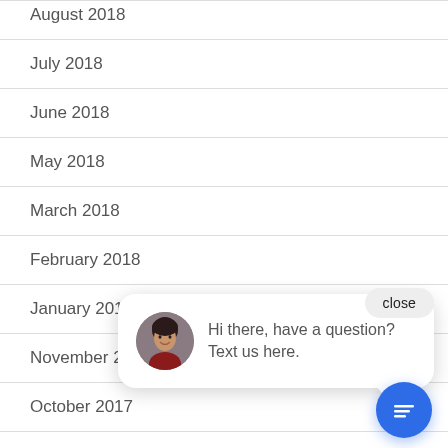August 2018
July 2018
June 2018
May 2018
March 2018
February 2018
January 2018
November 2017
October 2017
September 2017
August 2017
[Figure (screenshot): Chat widget popup with avatar photo and message: Hi there, have a question? Text us here. With a close button and blue chat circle button.]